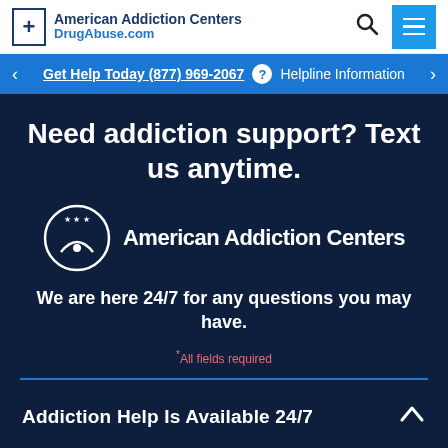American Addiction Centers DrugAbuse.com
Get Help Today (877) 969-2067 ? Helpline Information
Need addiction support? Text us anytime.
[Figure (logo): American Addiction Centers circular logo with stars and figure, next to text 'American Addiction Centers']
We are here 24/7 for any questions you may have.
* All fields required
Addiction Help Is Available 24/7